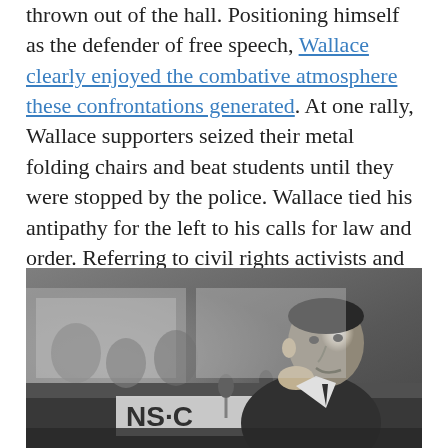thrown out of the hall. Positioning himself as the defender of free speech, Wallace clearly enjoyed the combative atmosphere these confrontations generated. At one rally, Wallace supporters seized their metal folding chairs and beat students until they were stopped by the police. Wallace tied his antipathy for the left to his calls for law and order. Referring to civil rights activists and student leftists, one campaign ad promised if Wallace was elected he would "get rid of them."
[Figure (photo): Black and white photograph of a man speaking at a podium with microphones in front of him. A sign partially visible reads 'NS' or similar letters.]